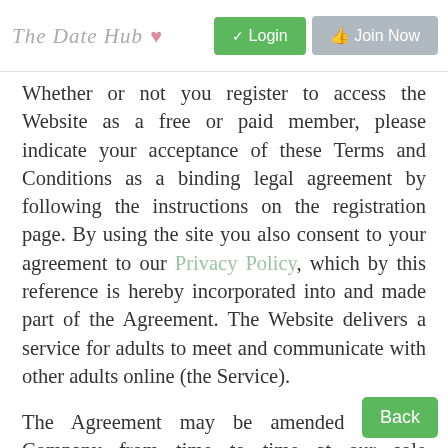The Date Hub ♥  ✓ Login  Join Now
Whether or not you register to access the Website as a free or paid member, please indicate your acceptance of these Terms and Conditions as a binding legal agreement by following the instructions on the registration page. By using the site you also consent to your agreement to our Privacy Policy, which by this reference is hereby incorporated into and made part of the Agreement. The Website delivers a service for adults to meet and communicate with other adults online (the Service).
The Agreement may be amended by the Company from time to time at our sole discretion. Such amendments would become effective once posted by the Company on the Website as indicated by the 'last updated date' at the start of these Terms and